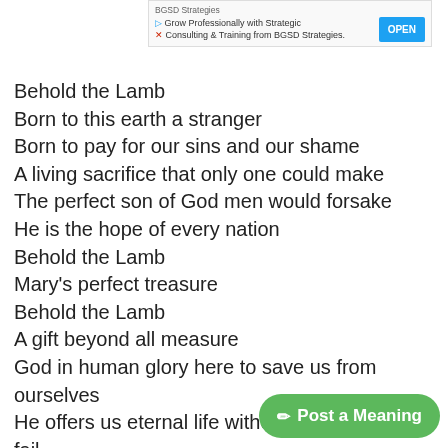[Figure (screenshot): Advertisement banner for BGSD Strategies with play icon, X close icon, and OPEN button in blue]
Behold the Lamb
Born to this earth a stranger
Born to pay for our sins and our shame
A living sacrifice that only one could make
The perfect son of God men would forsake
He is the hope of every nation
Behold the Lamb
Mary's perfect treasure
Behold the Lamb
A gift beyond all measure
God in human glory here to save us from ourselves
He offers us eternal life without him we would fail
This world will someday pass away but his word will prevail
He is the Lord of every nation
Behold the Lamb
The Son of God is with us
[Figure (other): Green rounded button labeled 'Post a Meaning' with pencil icon]